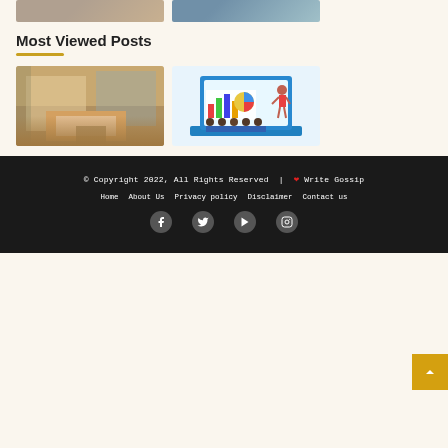[Figure (photo): Two thumbnail images at top of page — left shows a room/interior scene, right shows a person at a desk]
Most Viewed Posts
[Figure (photo): Hotel room interior with orange bedding and tropical view]
[Figure (illustration): Presentation/training illustration showing a laptop with charts and audience]
© Copyright 2022, All Rights Reserved | ❤ Write Gossip
Home   About Us   Privacy policy   Disclaimer   Contact us